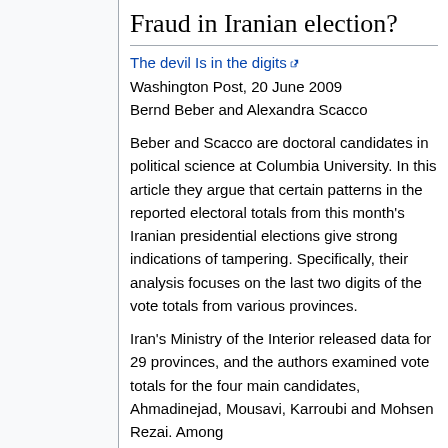Fraud in Iranian election?
The devil Is in the digits
Washington Post, 20 June 2009
Bernd Beber and Alexandra Scacco
Beber and Scacco are doctoral candidates in political science at Columbia University. In this article they argue that certain patterns in the reported electoral totals from this month's Iranian presidential elections give strong indications of tampering. Specifically, their analysis focuses on the last two digits of the vote totals from various provinces.
Iran's Ministry of the Interior released data for 29 provinces, and the authors examined vote totals for the four main candidates, Ahmadinejad, Mousavi, Karroubi and Mohsen Rezai. Among